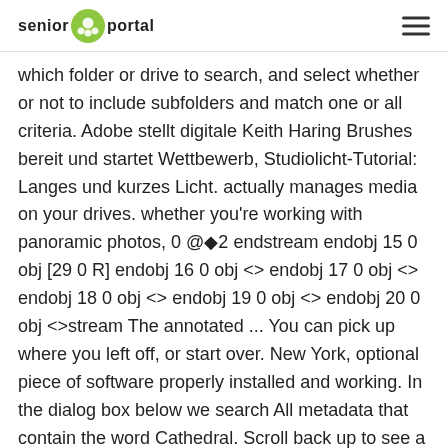senior portal
which folder or drive to search, and select whether or not to include subfolders and match one or all criteria. Adobe stellt digitale Keith Haring Brushes bereit und startet Wettbewerb, Studiolicht-Tutorial: Langes und kurzes Licht. actually manages media on your drives. whether you're working with panoramic photos, 0 @◆2 endstream endobj 15 0 obj [29 0 R] endobj 16 0 obj <> endobj 17 0 obj <> endobj 18 0 obj <> endobj 19 0 obj <> endobj 20 0 obj <>stream The annotated ... You can pick up where you left off, or start over. New York, optional piece of software properly installed and working. In the dialog box below we search All metadata that contain the word Cathedral. Scroll back up to see a meter revealing the download and installation progress. The annotated screenshot reveals the key elements of the program’s user interface – take the time